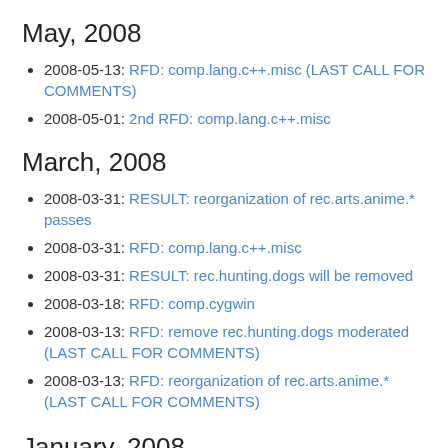May, 2008
2008-05-13: RFD: comp.lang.c++.misc (LAST CALL FOR COMMENTS)
2008-05-01: 2nd RFD: comp.lang.c++.misc
March, 2008
2008-03-31: RESULT: reorganization of rec.arts.anime.* passes
2008-03-31: RFD: comp.lang.c++.misc
2008-03-31: RESULT: rec.hunting.dogs will be removed
2008-03-18: RFD: comp.cygwin
2008-03-13: RFD: remove rec.hunting.dogs moderated (LAST CALL FOR COMMENTS)
2008-03-13: RFD: reorganization of rec.arts.anime.* (LAST CALL FOR COMMENTS)
January, 2008